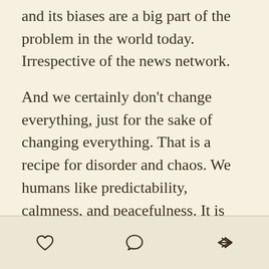and its biases are a big part of the problem in the world today. Irrespective of the news network.
And we certainly don't change everything, just for the sake of changing everything. That is a recipe for disorder and chaos. We humans like predictability, calmness, and peacefulness. It is not required to stir every pot continuously. We can let a lot of things be. They are fine as they are. Without being meddled. Especially by journalists who want to self-perpetuate most problems, so that they could be in business - and survive as a clan.
[heart icon] [comment icon] [share icon]